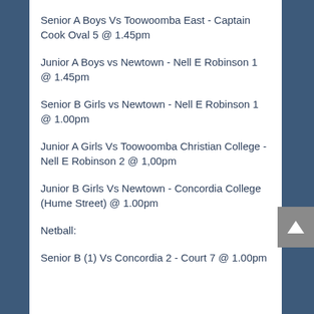Senior A Boys Vs Toowoomba East - Captain Cook Oval 5 @ 1.45pm
Junior A Boys vs Newtown - Nell E Robinson 1 @ 1.45pm
Senior B Girls vs Newtown - Nell E Robinson 1 @ 1.00pm
Junior A Girls Vs Toowoomba Christian College - Nell E Robinson 2 @ 1,00pm
Junior B Girls Vs Newtown - Concordia College (Hume Street) @ 1.00pm
Netball:
Senior B (1) Vs Concordia 2 - Court 7 @ 1.00pm